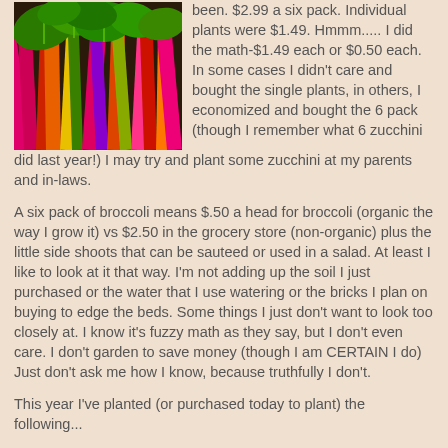[Figure (photo): Colorful rainbow chard with bright pink, orange, yellow, and green stems and leaves]
been. $2.99 a six pack. Individual plants were $1.49. Hmmm..... I did the math-$1.49 each or $0.50 each. In some cases I didn't care and bought the single plants, in others, I economized and bought the 6 pack (though I remember what 6 zucchini did last year!) I may try and plant some zucchini at my parents and in-laws.
A six pack of broccoli means $.50 a head for broccoli (organic the way I grow it) vs $2.50 in the grocery store (non-organic) plus the little side shoots that can be sauteed or used in a salad. At least I like to look at it that way. I'm not adding up the soil I just purchased or the water that I use watering or the bricks I plan on buying to edge the beds. Some things I just don't want to look too closely at. I know it's fuzzy math as they say, but I don't even care. I don't garden to save money (though I am CERTAIN I do) Just don't ask me how I know, because truthfully I don't.
This year I've planted (or purchased today to plant) the following...